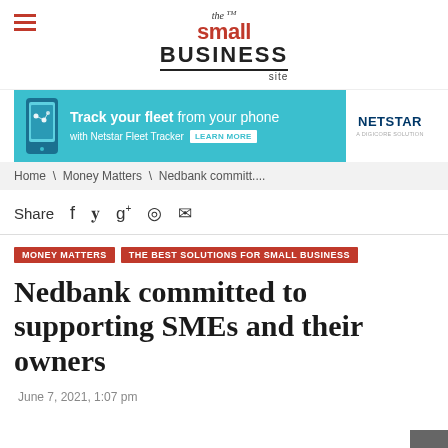the small BUSINESS site
[Figure (infographic): Netstar Fleet Tracker advertisement banner: Track your fleet from your phone with Netstar Fleet Tracker. Learn More button. Netstar logo on white panel.]
Home \ Money Matters \ Nedbank committ....
Share f g+ @ email
MONEY MATTERS   THE BEST SOLUTIONS FOR SMALL BUSINESS
Nedbank committed to supporting SMEs and their owners
June 7, 2021, 1:07 pm